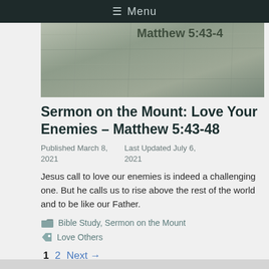≡ Menu
[Figure (photo): Hero image of stone or textured surface with text overlay partially visible: Matthew 5:43-4...]
Sermon on the Mount: Love Your Enemies – Matthew 5:43-48
Published March 8, 2021    Last Updated July 6, 2021
Jesus call to love our enemies is indeed a challenging one. But he calls us to rise above the rest of the world and to be like our Father.
Bible Study, Sermon on the Mount
Love Others
1  2  Next →